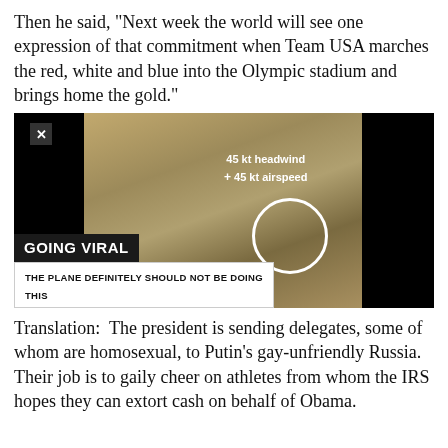Then he said, "Next week the world will see one expression of that commitment when Team USA marches the red, white and blue into the Olympic stadium and brings home the gold."
[Figure (screenshot): A video screenshot showing an aerial view of farmland from a plane window. Overlay text reads '45 kt headwind + 45 kt airspeed' with a white circle in the center. Lower left shows 'GOING VIRAL' in bold white text on dark background, and subtitle 'THE PLANE DEFINITELY SHOULD NOT BE DOING THIS'. A close (X) button appears top left.]
Translation:  The president is sending delegates, some of whom are homosexual, to Putin's gay-unfriendly Russia. Their job is to gaily cheer on athletes from whom the IRS hopes they can extort cash on behalf of Obama.